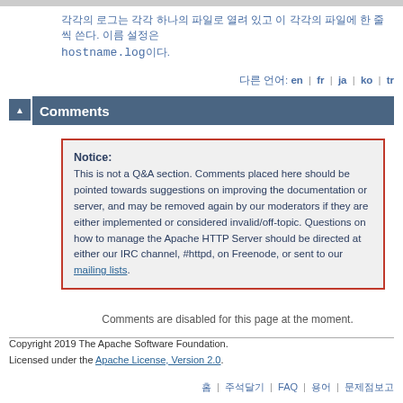각각의 로그는 각각 하나의 파일로 열려 있고 이 각각의 파일에 한 줄씩 쓴다. 이름 설정은 hostname.log이다.
다른 언어: en | fr | ja | ko | tr
Comments
Notice: This is not a Q&A section. Comments placed here should be pointed towards suggestions on improving the documentation or server, and may be removed again by our moderators if they are either implemented or considered invalid/off-topic. Questions on how to manage the Apache HTTP Server should be directed at either our IRC channel, #httpd, on Freenode, or sent to our mailing lists.
Comments are disabled for this page at the moment.
Copyright 2019 The Apache Software Foundation. Licensed under the Apache License, Version 2.0.
홈 | 주석달기 | FAQ | 용어 | 문제점보고